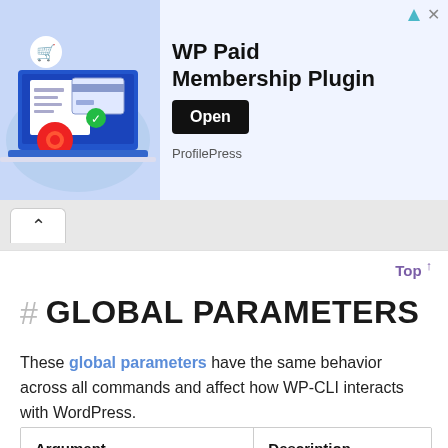[Figure (illustration): WP Paid Membership Plugin advertisement banner with an illustration of a laptop showing a shopping cart and payment icons, with a green checkmark. Text reads 'WP Paid Membership Plugin', 'ProfilePress', and an 'Open' button.]
# GLOBAL PARAMETERS
These global parameters have the same behavior across all commands and affect how WP-CLI interacts with WordPress.
| Argument | Description |
| --- | --- |
| --path=<path> | Path to the |